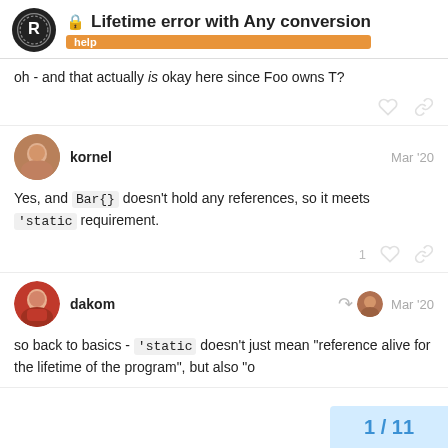Lifetime error with Any conversion — help
oh - and that actually is okay here since Foo owns T?
kornel — Mar '20
Yes, and Bar{} doesn't hold any references, so it meets 'static requirement.
dakom — Mar '20
so back to basics - 'static doesn't just mean "reference alive for the lifetime of the program", but also "o
1 / 11